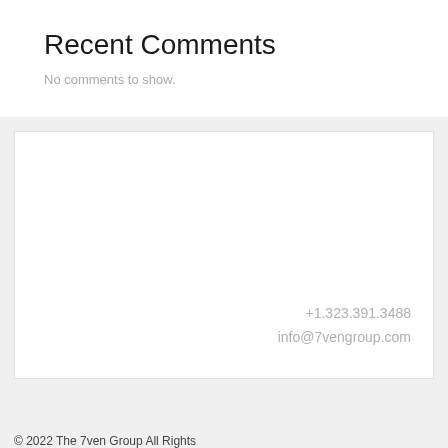Recent Comments
No comments to show.
+1.323.391.3488
info@7vengroup.com
© 2022 The 7ven Group All Rights